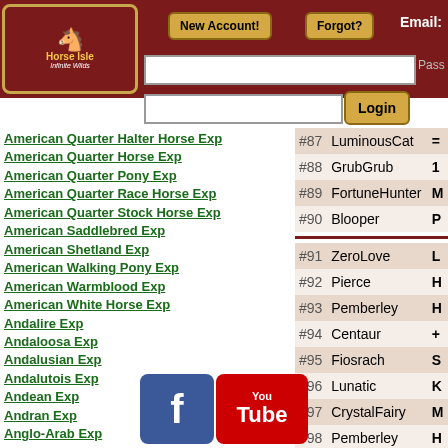Horse Isle - Infinite Wilds | New Account! | Forgot? | Email: | Login
American Quarter Halter Horse Exp
American Quarter Horse Exp
American Quarter Pony Exp
American Quarter Race Horse Exp
American Quarter Stock Horse Exp
American Saddlebred Exp
American Shetland Exp
American Walking Pony Exp
American Warmblood Exp
American White Horse Exp
Andalire Exp
Andaloosa Exp
Andalusian Exp
Andalutois Exp
Andean Exp
Andran Exp
Anglo-Arab Exp
| Rank | Name | Score |
| --- | --- | --- |
| #87 | LuminousCat | = |
| #88 | GrubGrub | 1 |
| #89 | FortuneHunter | M |
| #90 | Blooper | P |
| #91 | ZeroLove | L |
| #92 | Pierce | H |
| #93 | Pemberley | H |
| #94 | Centaur | + |
| #95 | Fiosrach | S |
| #96 | Lunatic | K |
| #97 | CrystalFairy | M |
| #98 | Pemberley | H |
| #99 | Grandpa | ... |
[Figure (logo): Facebook and YouTube social media icons]